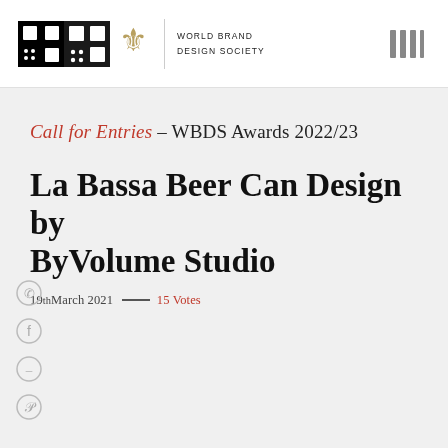[Figure (logo): World Brand Design Society logo with black grid squares, crest emblem, divider line, and WORLD BRAND DESIGN SOCIETY text]
[Figure (other): Hamburger/menu icon with four vertical bars in grey]
Call for Entries – WBDS Awards 2022/23
La Bassa Beer Can Design by ByVolume Studio
19th March 2021  —  15 Votes
[Figure (other): Social share icons: WhatsApp, Facebook, message/chat, Pinterest]